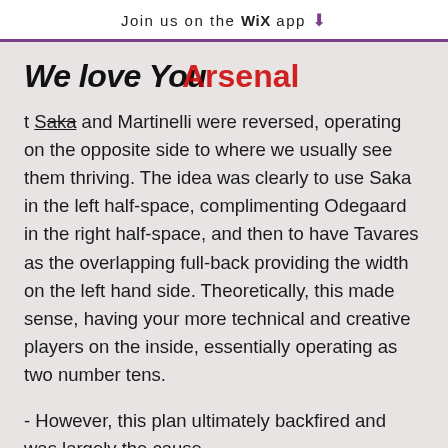Join us on the WiX app ↓
We love You Arsenal
t Saka and Martinelli were reversed, operating on the opposite side to where we usually see them thriving. The idea was clearly to use Saka in the left half-space, complimenting Odegaard in the right half-space, and then to have Tavares as the overlapping full-back providing the width on the left hand side. Theoretically, this made sense, having your more technical and creative players on the inside, essentially operating as two number tens.
- However, this plan ultimately backfired and was largely the cause